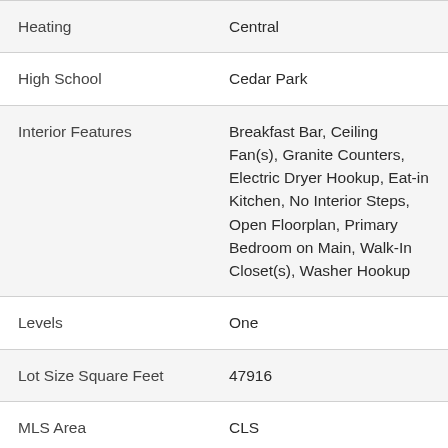| Property | Value |
| --- | --- |
| Heating | Central |
| High School | Cedar Park |
| Interior Features | Breakfast Bar, Ceiling Fan(s), Granite Counters, Electric Dryer Hookup, Eat-in Kitchen, No Interior Steps, Open Floorplan, Primary Bedroom on Main, Walk-In Closet(s), Washer Hookup |
| Levels | One |
| Lot Size Square Feet | 47916 |
| MLS Area | CLS |